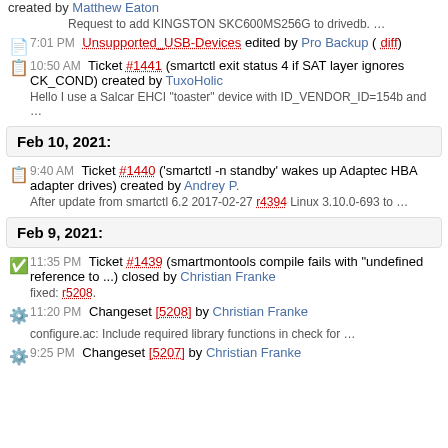created by Matthew Eaton
Request to add KINGSTON SKC600MS256G to drivedb. …
7:01 PM Unsupported_USB-Devices edited by Pro Backup (diff)
10:50 AM Ticket #1441 (smartctl exit status 4 if SAT layer ignores CK_COND) created by TuxoHolic
Hello I use a Salcar EHCI "toaster" device with ID_VENDOR_ID=154b and …
Feb 10, 2021:
9:40 AM Ticket #1440 ('smartctl -n standby' wakes up Adaptec HBA adapter drives) created by Andrey P.
After update from smartctl 6.2 2017-02-27 r4394 Linux 3.10.0-693 to …
Feb 9, 2021:
11:35 PM Ticket #1439 (smartmontools compile fails with "undefined reference to ...) closed by Christian Franke
fixed: r5208.
11:20 PM Changeset [5208] by Christian Franke
configure.ac: Include required library functions in check for …
9:25 PM Changeset [5207] by Christian Franke